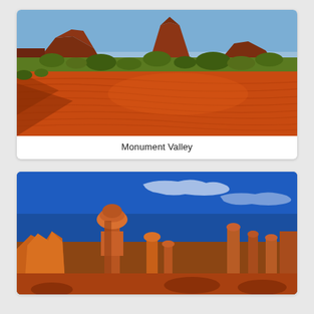[Figure (photo): Monument Valley landscape with red sand dunes in the foreground, desert shrubs and vegetation in the middle ground, and iconic red sandstone buttes (mesas) rising against a blue sky in the background.]
Monument Valley
[Figure (photo): Bryce Canyon or similar red rock formation with a tall hoodoo (Thor's Hammer style balanced rock) silhouetted against a deep blue sky with light clouds. Orange and red rock spires visible in the foreground.]